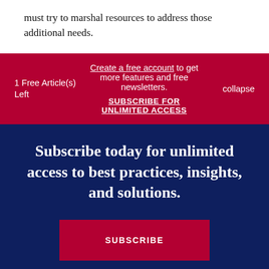must try to marshal resources to address those additional needs.
1 Free Article(s) Left
Create a free account to get more features and free newsletters.
SUBSCRIBE FOR UNLIMITED ACCESS
collapse
Subscribe today for unlimited access to best practices, insights, and solutions.
SUBSCRIBE